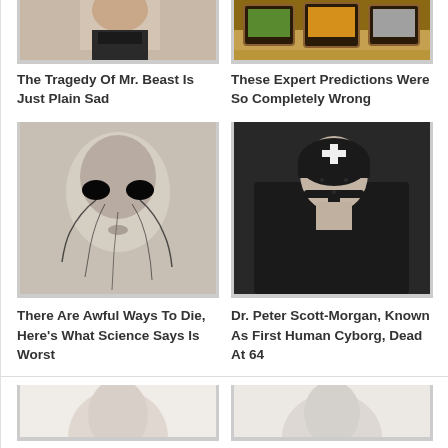[Figure (photo): Partial photo of a young man cropped at top]
[Figure (photo): Photo of multiple vintage TVs in a field with various images on screens]
The Tragedy Of Mr. Beast Is Just Plain Sad
These Expert Predictions Were So Completely Wrong
[Figure (photo): Black and white photo of a person with dramatic dark makeup and cracked skin texture]
[Figure (photo): Photo of Dr. Peter Scott-Morgan wearing a black helmet with cross marking, seated in what appears to be a wheelchair]
There Are Awful Ways To Die, Here's What Science Says Is Worst
Dr. Peter Scott-Morgan, Known As First Human Cyborg, Dead At 64
[Figure (photo): Partial photo of a person, cropped at bottom, light/white tones]
[Figure (photo): Partial photo of a person, cropped at bottom, light/pale tones]